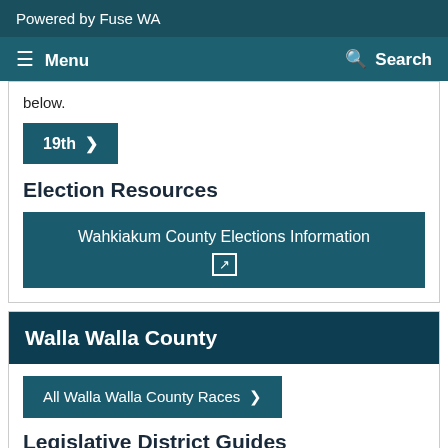Powered by Fuse WA
Menu  Search
below.
19th >
Election Resources
Wahkiakum County Elections Information [external link icon]
Walla Walla County
All Walla Walla County Races >
Legislative District Guides
If you know your legislative district, pick it